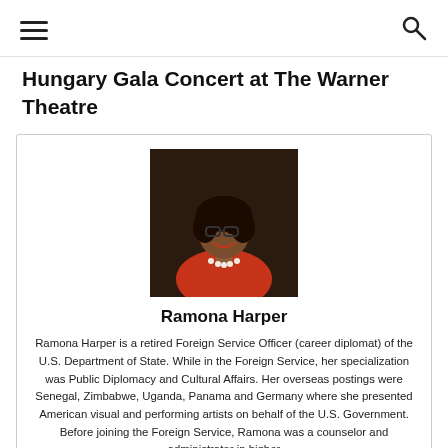Hungary Gala Concert at The Warner Theatre
[Figure (photo): Portrait photo of Ramona Harper, a woman with dark curly hair, glasses, red dress, and pearl necklace, smiling against a dark background.]
Ramona Harper
Ramona Harper is a retired Foreign Service Officer (career diplomat) of the U.S. Department of State. While in the Foreign Service, her specialization was Public Diplomacy and Cultural Affairs. Her overseas postings were Senegal, Zimbabwe, Uganda, Panama and Germany where she presented American visual and performing artists on behalf of the U.S. Government. Before joining the Foreign Service, Ramona was a counselor and administrator in higher